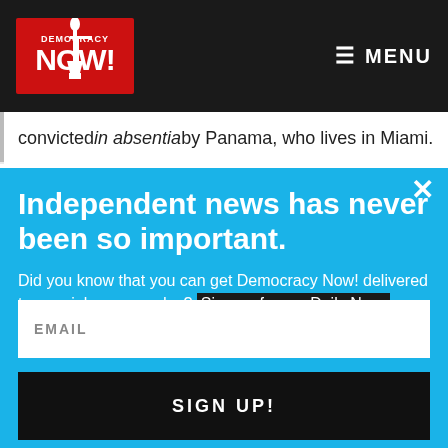[Figure (logo): Democracy Now! logo — red torch/statue graphic with 'DEMOCRACY NOW!' text in red and white on dark background]
≡ MENU
convicted in absentia by Panama, who lives in Miami.
Independent news has never been so important.
Did you know that you can get Democracy Now! delivered to your inbox every day? Sign up for our Daily News Digest today! Don't worry, we'll never share or sell your information.
EMAIL
SIGN UP!